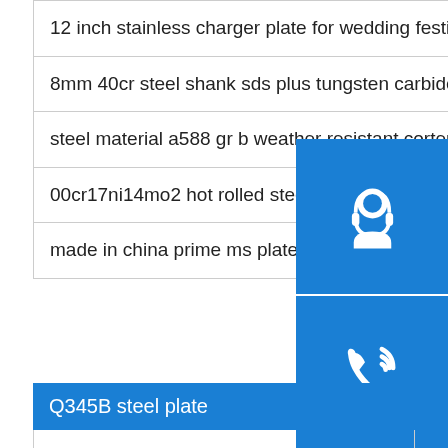12 inch stainless charger plate for wedding festival Welding
8mm 40cr steel shank sds plus tungsten carbide drill Assembling
[Figure (illustration): Blue square icon with white headset/customer service symbol]
steel material a588 gr b weather resistant corten sheet Rolling
[Figure (illustration): Blue square icon with white phone/call symbol]
00cr17ni14mo2 hot rolled steel sheet ss330 Cut
[Figure (illustration): Blue square icon with white Skype logo symbol]
made in china prime ms plate Plasma welding
Q345B steel plate
a53 pipe and steel sri lanka guangdong lizz steel pipe Heat treatment